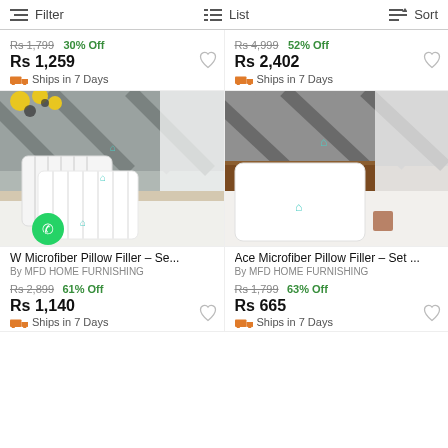Filter   List   Sort
Rs 1,799  30% Off
Rs 1,259
Ships in 7 Days
Rs 4,999  52% Off
Rs 2,402
Ships in 7 Days
[Figure (photo): White microfiber pillow product photo on bed with striped headboard]
W Microfiber Pillow Filler – Se...
By MFD HOME FURNISHING
Rs 2,899  61% Off
Rs 1,140
Ships in 7 Days
[Figure (photo): Ace Microfiber Pillow product photo on bed with wooden headboard]
Ace Microfiber Pillow Filler – Set ...
By MFD HOME FURNISHING
Rs 1,799  63% Off
Rs 665
Ships in 7 Days